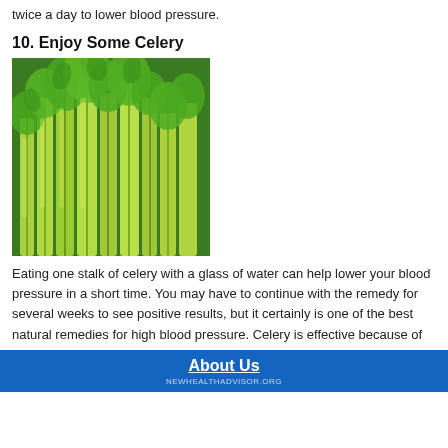twice a day to lower blood pressure.
10. Enjoy Some Celery
[Figure (photo): Close-up photo of fresh green celery stalks and leaves]
Eating one stalk of celery with a glass of water can help lower your blood pressure in a short time. You may have to continue with the remedy for several weeks to see positive results, but it certainly is one of the best natural remedies for high blood pressure. Celery is effective because of the presence of the phytochemical called 3-N-butylphthalide that improves blood flow and helps muscles in and around your arterial walls to relax.
About Us
NEWHEALTHADVISOR.ORG